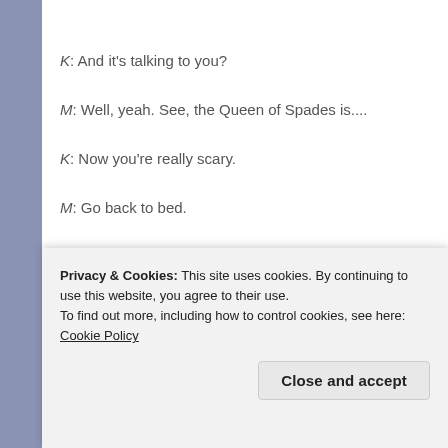K: And it's talking to you?
M: Well, yeah. See, the Queen of Spades is....
K: Now you're really scary.
M: Go back to bed.
K: How come I don't get to play so late?
M: 'Cause you have to go to school.
[Figure (photo): Advertisement showing a red smartphone on a red background]
Privacy & Cookies: This site uses cookies. By continuing to use this website, you agree to their use.
To find out more, including how to control cookies, see here: Cookie Policy
Close and accept